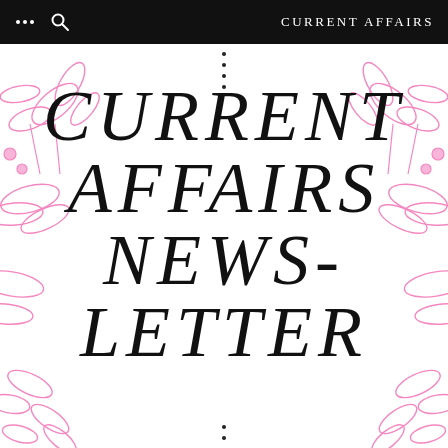CURRENT AFFAIRS
[Figure (illustration): Pink floral/botanical line art decorating the corners and edges of the page background]
CURRENT AFFAIRS NEWS-LETTER